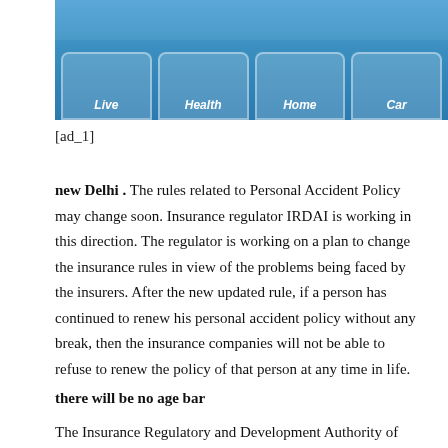[Figure (photo): A hand pressing keyboard keys labeled Live, Health, Home, Car on a blue background representing insurance types]
[ad_1]
new Delhi . The rules related to Personal Accident Policy may change soon. Insurance regulator IRDAI is working in this direction. The regulator is working on a plan to change the insurance rules in view of the problems being faced by the insurers. After the new updated rule, if a person has continued to renew his personal accident policy without any break, then the insurance companies will not be able to refuse to renew the policy of that person at any time in life.
there will be no age bar
The Insurance Regulatory and Development Authority of India